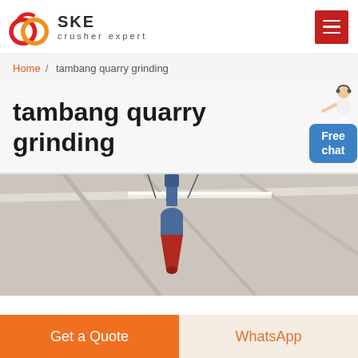SKE crusher expert
Home / tambang quarry grinding
tambang quarry grinding
[Figure (photo): Industrial crusher machinery hanging from ceiling inside a warehouse/factory, showing a cone crusher head with blue and red components, shot from below looking up at structural roof trusses]
Get a Quote
WhatsApp